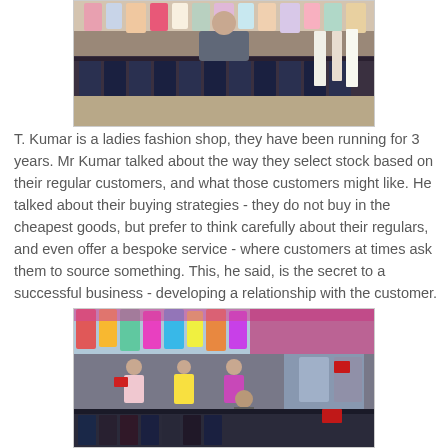[Figure (photo): Photo of a man standing in a ladies fashion clothing store surrounded by racks of clothes and hanging garments.]
T. Kumar is a ladies fashion shop, they have been running for 3 years. Mr Kumar talked about the way they select stock based on their regular customers, and what those customers might like. He talked about their buying strategies - they do not buy in the cheapest goods, but prefer to think carefully about their regulars, and even offer a bespoke service - where customers at times ask them to source something. This, he said, is the secret to a successful business - developing a relationship with the customer.
[Figure (photo): Photo of a colorful ladies fashion clothing store with mannequins, racks of colorful garments, and a person visible in the background.]